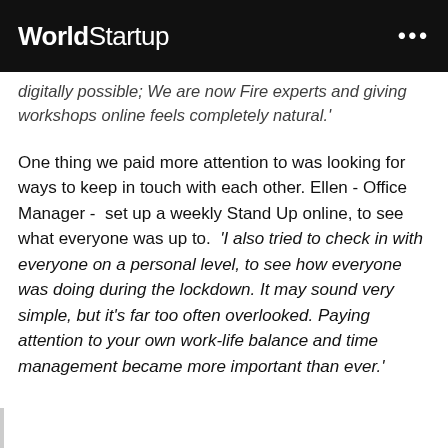WorldStartup
digitally possible; We are now Fire experts and giving workshops online feels completely natural.'
One thing we paid more attention to was looking for ways to keep in touch with each other. Ellen - Office Manager -  set up a weekly Stand Up online, to see what everyone was up to.  'I also tried to check in with everyone on a personal level, to see how everyone was doing during the lockdown. It may sound very simple, but it's far too often overlooked. Paying attention to your own work-life balance and time management became more important than ever.'